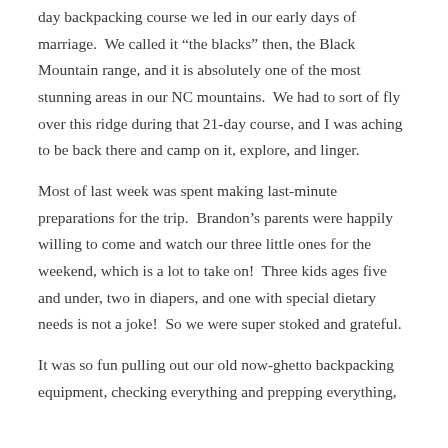day backpacking course we led in our early days of marriage. We called it “the blacks” then, the Black Mountain range, and it is absolutely one of the most stunning areas in our NC mountains. We had to sort of fly over this ridge during that 21-day course, and I was aching to be back there and camp on it, explore, and linger.
Most of last week was spent making last-minute preparations for the trip. Brandon’s parents were happily willing to come and watch our three little ones for the weekend, which is a lot to take on! Three kids ages five and under, two in diapers, and one with special dietary needs is not a joke! So we were super stoked and grateful.
It was so fun pulling out our old now-ghetto backpacking equipment, checking everything and prepping everything,